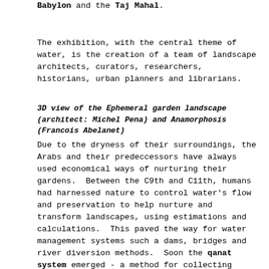Babylon and the Taj Mahal.
The exhibition, with the central theme of water, is the creation of a team of landscape architects, curators, researchers, historians, urban planners and librarians.
3D view of the Ephemeral garden landscape (architect: Michel Pena) and Anamorphosis (Francois Abelanet)
Due to the dryness of their surroundings, the Arabs and their predeccessors have always used economical ways of nurturing their gardens. Between the C9th and C11th, humans had harnessed nature to control water's flow and preservation to help nurture and transform landscapes, using estimations and calculations. This paved the way for water management systems such a dams, bridges and river diversion methods. Soon the qanat system emerged - a method for collecting ground water via wells linked by subterranean tunnels.